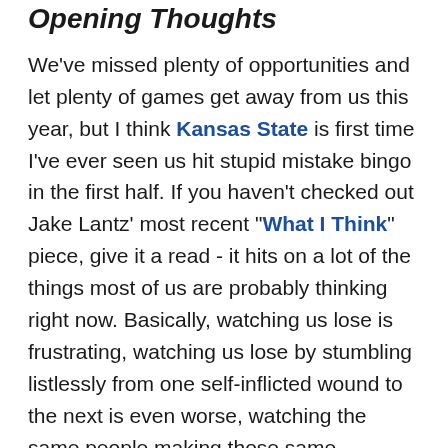Opening Thoughts
We've missed plenty of opportunities and let plenty of games get away from us this year, but I think Kansas State is first time I've ever seen us hit stupid mistake bingo in the first half. If you haven't checked out Jake Lantz' most recent "What I Think" piece, give it a read - it hits on a lot of the things most of us are probably thinking right now. Basically, watching us lose is frustrating, watching us lose by stumbling listlessly from one self-inflicted wound to the next is even worse, watching the same people making those same mistakes game after game after game is more frustrating still, and in light of the above, the most frustrating thing of all is the lack of changes along the way. Just 10 games of beating our collective head against a wall and hoping we don't get a headache.